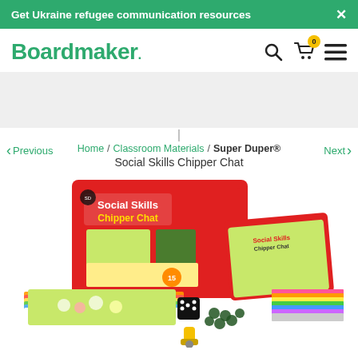Get Ukraine refugee communication resources  ×
Boardmaker
Previous  Home / Classroom Materials / Super Duper®  Next
Social Skills Chipper Chat
[Figure (photo): Photo of Social Skills Chipper Chat educational board game set including box, game boards, dice, chips, colorful card sheets, and a stamper tool.]